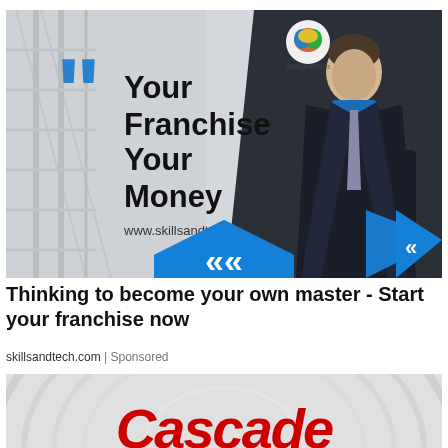[Figure (photo): Advertisement banner for skillsandtech.com franchise. Light grey background with dark right panel, business man in suit, large blue quote marks, text reading 'Your Franchise Your Money', blue chevron arrows, colorful brain logo, and website URL www.skillsandtech.com]
Thinking to become your own master - Start your franchise now
skillsandtech.com | Sponsored
[Figure (photo): Bottom portion of a Cascade toothpaste tube, showing the red Cascade logo text on a white/grey ridged tube background]